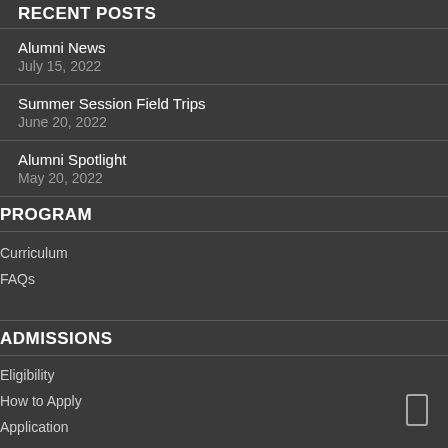RECENT POSTS
Alumni News
July 15, 2022
Summer Session Field Trips
June 20, 2022
Alumni Spotlight
May 20, 2022
PROGRAM
Curriculum
FAQs
ADMISSIONS
Eligibility
How to Apply
Application